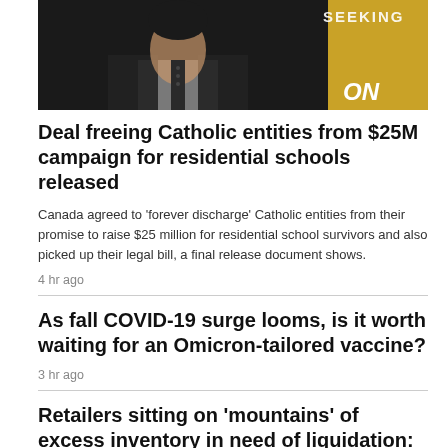[Figure (photo): Photo of a man in a dark suit and tie, partial head and upper body visible, with yellow background banner behind him. Text 'SEEKING' partially visible at top.]
Deal freeing Catholic entities from $25M campaign for residential schools released
Canada agreed to 'forever discharge' Catholic entities from their promise to raise $25 million for residential school survivors and also picked up their legal bill, a final release document shows.
4 hr ago
As fall COVID-19 surge looms, is it worth waiting for an Omicron-tailored vaccine?
3 hr ago
Retailers sitting on 'mountains' of excess inventory in need of liquidation: expert